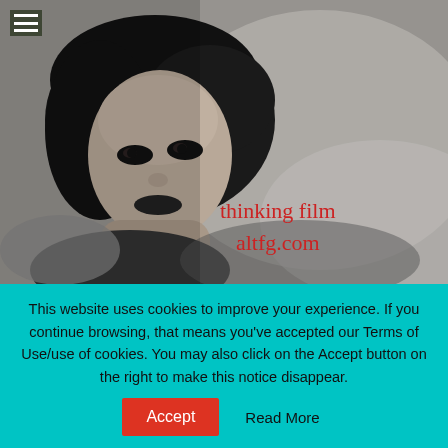[Figure (photo): Black and white photograph of a young woman with dark bobbed hair, lying down, looking intensely at the camera. The text 'thinking film altfg.com' appears in red overlaid on the image.]
thinking film
altfg.com
Home > Tags > "David Cronenberg"
DAVID CRONENBERG
This website uses cookies to improve your experience. If you continue browsing, that means you've accepted our Terms of Use/use of cookies. You may also click on the Accept button on the right to make this notice disappear.